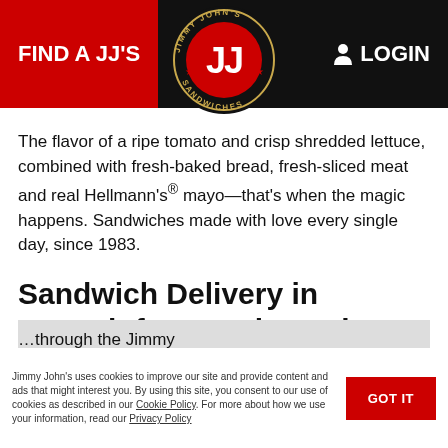FIND A JJ'S   LOGIN
[Figure (logo): Jimmy John's circular logo with JJ initials in red and black with stars, 'JIMMY JOHN'S SANDWICHES' text around the border]
The flavor of a ripe tomato and crisp shredded lettuce, combined with fresh-baked bread, fresh-sliced meat and real Hellmann's® mayo—that's when the magic happens. Sandwiches made with love every single day, since 1983.
Sandwich Delivery in Neenah for Lunch or Dinner
If you need sandwich delivery, your Neenah Jimmy John's has you covered. We'll even deliver one sandwich.
through the Jimmy
ORDER NOW   DIRECTIONS
Jimmy John's uses cookies to improve our site and provide content and ads that might interest you. By using this site, you consent to our use of cookies as described in our Cookie Policy. For more about how we use your information, read our Privacy Policy.